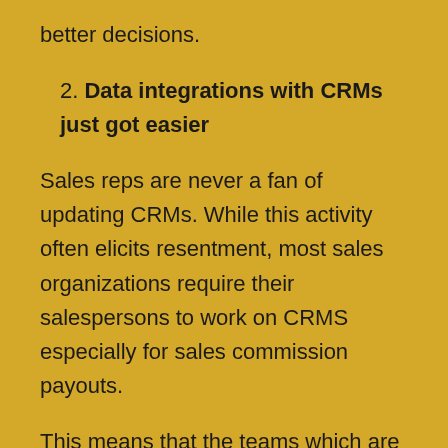better decisions.
2. Data integrations with CRMs just got easier
Sales reps are never a fan of updating CRMs. While this activity often elicits resentment, most sales organizations require their salespersons to work on CRMS especially for sales commission payouts.
This means that the teams which are dependent on spreadsheets will have to manually transfer the required data from CRMs to spreadsheets.
While being highly prone to errors, following this